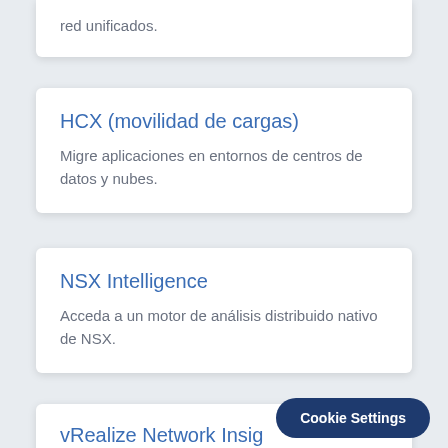red unificados.
HCX (movilidad de cargas)
Migre aplicaciones en entornos de centros de datos y nubes.
NSX Intelligence
Acceda a un motor de análisis distribuido nativo de NSX.
vRealize Network Insig